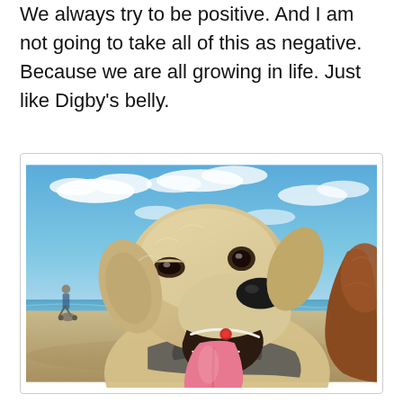We always try to be positive. And I am not going to take all of this as negative. Because we are all growing in life. Just like Digby's belly.
[Figure (photo): A happy golden/yellow Labrador dog with mouth open and tongue hanging out, wearing a gray harness and red collar tag, photographed on a beach with blue sky and clouds in the background. Another dog is partially visible on the right edge. A person with a stroller is visible in the background on the left.]